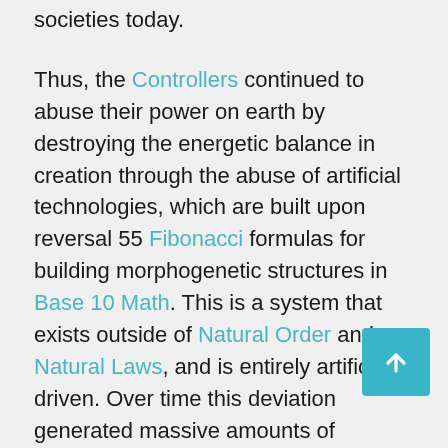societies today.
Thus, the Controllers continued to abuse their power on earth by destroying the energetic balance in creation through the abuse of artificial technologies, which are built upon reversal 55 Fibonacci formulas for building morphogenetic structures in Base 10 Math. This is a system that exists outside of Natural Order and Natural Laws, and is entirely artificially driven. Over time this deviation generated massive amounts of destruction across an assortment of timelines, as they continued to experiment on human genetics for cloning purposes, in order to prolong their life spans. Human DNA contains time codes that are necessary for accessing organic timelines, so by